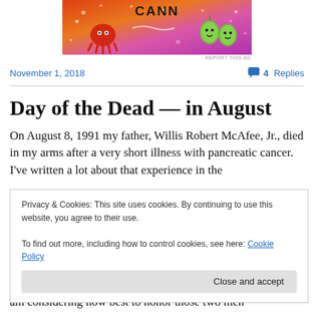[Figure (illustration): Colorful banner advertisement with orange-pink-purple gradient background, cartoon creatures including a red octopus and green heart-shaped characters with faces, decorative doodles, hearts, leaves, and sparkles. Dark bold text at top.]
REPORT THIS AD
November 1, 2018
4 Replies
Day of the Dead — in August
On August 8, 1991 my father, Willis Robert McAfee, Jr., died in my arms after a very short illness with pancreatic cancer. I've written a lot about that experience in the
Privacy & Cookies: This site uses cookies. By continuing to use this website, you agree to their use.
To find out more, including how to control cookies, see here: Cookie Policy
Close and accept
am considering how best to honor those two men